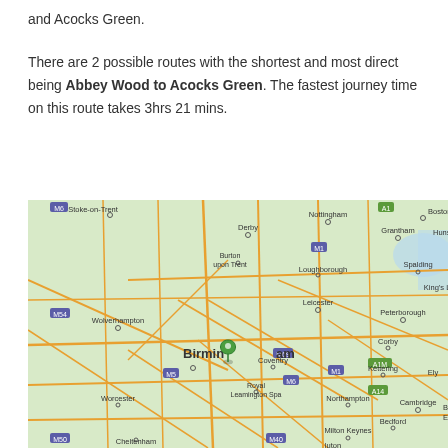and Acocks Green.
There are 2 possible routes with the shortest and most direct being Abbey Wood to Acocks Green. The fastest journey time on this route takes 3hrs 21 mins.
[Figure (map): Map of central England showing Birmingham with a green location pin, and surrounding cities including Stoke-on-Trent, Derby, Nottingham, Grantham, Boston, Wolverhampton, Leicester, Peterborough, Coventry, Northampton, Cambridge, Worcester, Cheltenham, Milton Keynes, and Bedford. Road network shown in orange/yellow lines.]